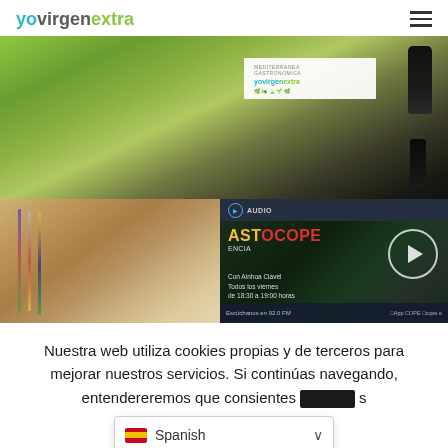yovirgenextra
[Figure (photo): Close-up photo of a green surface with olive oil products and a white card showing yovirgenextra branding, plus a dark bottle on the right.]
[Figure (photo): Left: Meeting room with flags and people seated around a table. Right: Screenshot of ASTROCOPE radio show on COPE with play button, presenter info, and station details.]
Nuestra web utiliza cookies propias y de terceros para mejorar nuestros servicios. Si continúas navegando, entendereremos que consientes
[Figure (screenshot): Language selector showing Spanish flag and 'Spanish' label with dropdown chevron.]